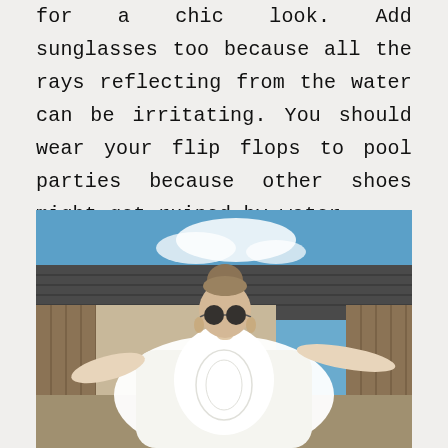for a chic look. Add sunglasses too because all the rays reflecting from the water can be irritating. You should wear your flip flops to pool parties because other shoes might get ruined by water.
[Figure (photo): A woman wearing a white knit caftan/cover-up dress and round black sunglasses, hair in a top bun, arms outstretched, standing outdoors with a blue sky and roof visible in the background.]